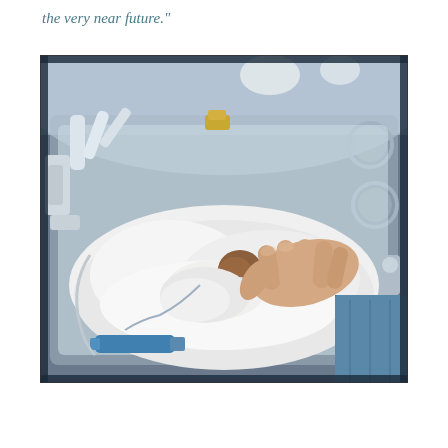the very near future."
[Figure (photo): A premature newborn infant lying in a hospital incubator (neonatal intensive care unit). The infant is very small, wearing a white medical garment and has medical tubes attached. An adult hand, with a blue medical gown sleeve visible, gently rests on the baby's head. The incubator has clear plastic walls and various medical equipment visible around the infant.]